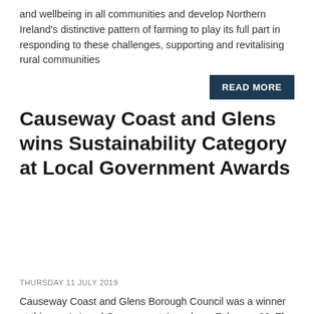and wellbeing in all communities and develop Northern Ireland's distinctive pattern of farming to play its full part in responding to these challenges, supporting and revitalising rural communities
READ MORE
Causeway Coast and Glens wins Sustainability Category at Local Government Awards
THURSDAY 11 JULY 2019
Causeway Coast and Glens Borough Council was a winner at this year's Local Government Awards on February 20. The Council